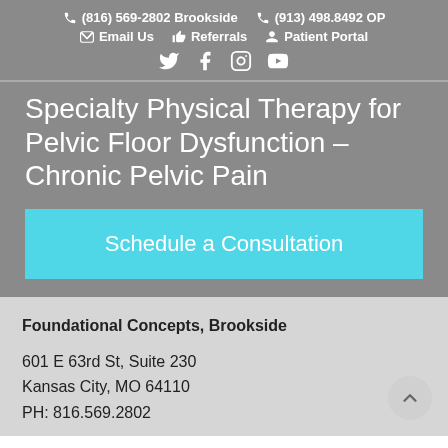(816) 569-2802 Brookside   (913) 498.8492 OP   Email Us   Referrals   Patient Portal
Specialty Physical Therapy for Pelvic Floor Dysfunction – Chronic Pelvic Pain
Schedule a Consultation
Foundational Concepts, Brookside
601 E 63rd St, Suite 230
Kansas City, MO 64110
PH: 816.569.2802